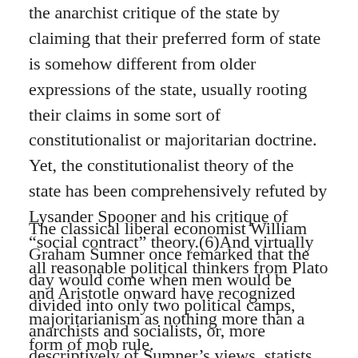the anarchist critique of the state by claiming that their preferred form of state is somehow different from older expressions of the state, usually rooting their claims in some sort of constitutionalist or majoritarian doctrine. Yet, the constitutionalist theory of the state has been comprehensively refuted by Lysander Spooner and his critique of “social contract” theory.(6)And virtually all reasonable political thinkers from Plato and Aristotle onward have recognized majoritarianism as nothing more than a form of mob rule.
The classical liberal economist William Graham Sumner once remarked that the day would come when men would be divided into only two political camps, anarchists and socialists, or, more descriptively of Sumner’s views, statists and anti-statists.(7) Sumner’s